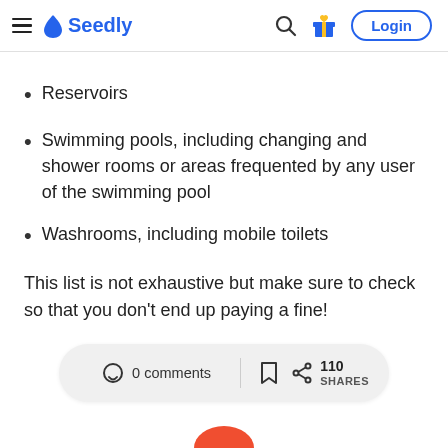Seedly - Login
Reservoirs
Swimming pools, including changing and shower rooms or areas frequented by any user of the swimming pool
Washrooms, including mobile toilets
This list is not exhaustive but make sure to check so that you don't end up paying a fine!
0 comments | 110 SHARES